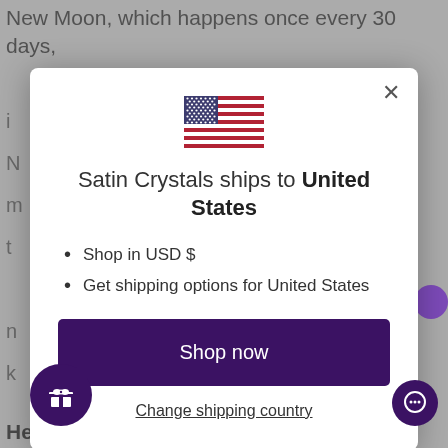New Moon, which happens once every 30 days,
[Figure (screenshot): Modal dialog overlay on a website showing shipping destination. Contains a US flag, text 'Satin Crystals ships to United States', bullet points 'Shop in USD $' and 'Get shipping options for United States', a dark purple 'Shop now' button, and a 'Change shipping country' link.]
Healing Ideas: